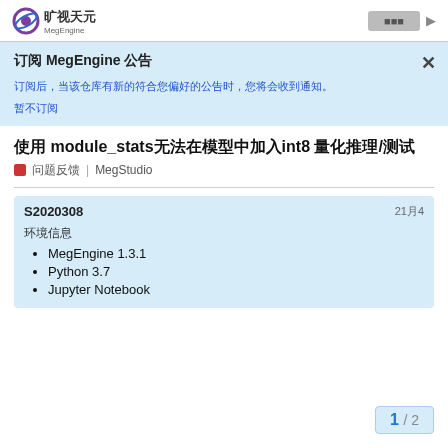旷视天元 MegEngine
订阅 MegEngine 公告 ×
订阅后，当该仓库有新的符合您偏好的公告时，您将会收到通知。
暂不订阅
使用 module_stats无法在模型中加入int8 量化推理/测试
■ 问题反馈  MegStudio
S2020308  21月4
环境信息
MegEngine 1.3.1
Python 3.7
Jupyter Notebook
1 / 2